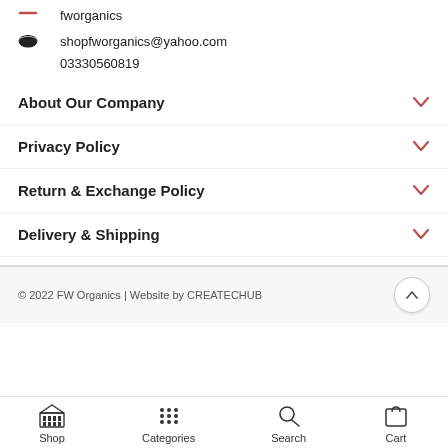fworganics
shopfworganics@yahoo.com
03330560819
About Our Company
Privacy Policy
Return & Exchange Policy
Delivery & Shipping
© 2022 FW Organics | Website by CREATECHUB
Shop  Categories  Search  Cart